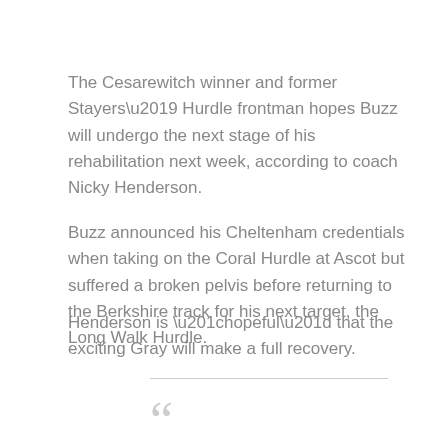The Cesarewitch winner and former Stayers' Hurdle frontman hopes Buzz will undergo the next stage of his rehabilitation next week, according to coach Nicky Henderson.
Buzz announced his Cheltenham credentials when taking on the Coral Hurdle at Ascot but suffered a broken pelvis before returning to the Berkshire track for his next target, the Long Walk Hurdle.
Henderson is “hopeful” that the exciting Gray will make a full recovery.